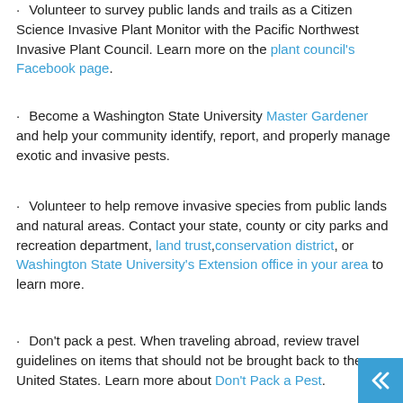· Volunteer to survey public lands and trails as a Citizen Science Invasive Plant Monitor with the Pacific Northwest Invasive Plant Council. Learn more on the plant council's Facebook page.
· Become a Washington State University Master Gardener and help your community identify, report, and properly manage exotic and invasive pests.
· Volunteer to help remove invasive species from public lands and natural areas. Contact your state, county or city parks and recreation department, land trust, conservation district, or Washington State University's Extension office in your area to learn more.
· Don't pack a pest. When traveling abroad, review travel guidelines on items that should not be brought back to the United States. Learn more about Don't Pack a Pest.